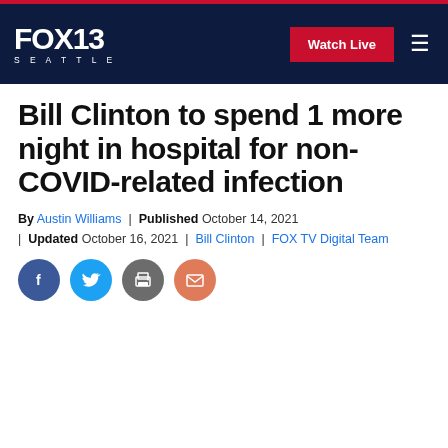FOX 13 SEATTLE — Watch Live (navigation bar)
Bill Clinton to spend 1 more night in hospital for non-COVID-related infection
By Austin Williams | Published October 14, 2021 | Updated October 16, 2021 | Bill Clinton | FOX TV Digital Team
[Figure (other): Social share icons: Facebook, Twitter, Print, Email]